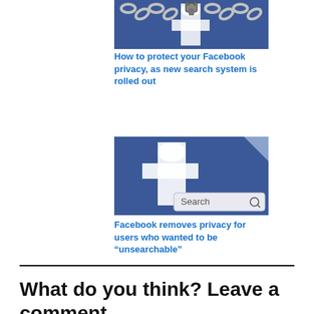[Figure (photo): Facebook logo with chains and padlock overlaid, symbolizing privacy/security]
How to protect your Facebook privacy, as new search system is rolled out
[Figure (screenshot): Facebook homepage with the large 'f' logo and a Search bar at the bottom]
Facebook removes privacy for users who wanted to be “unsearchable”
What do you think? Leave a comment